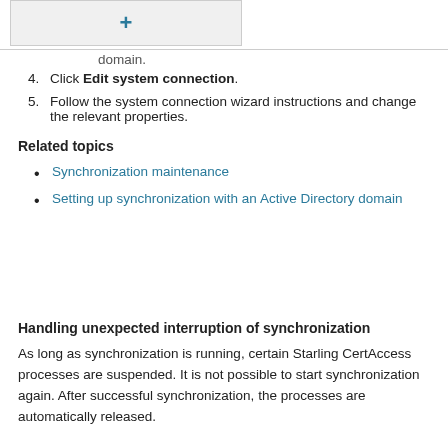[Figure (screenshot): A UI button element showing a plus (+) icon in teal/blue color on a light gray background with border]
domain.
4. Click Edit system connection.
5. Follow the system connection wizard instructions and change the relevant properties.
Related topics
Synchronization maintenance
Setting up synchronization with an Active Directory domain
Handling unexpected interruption of synchronization
As long as synchronization is running, certain Starling CertAccess processes are suspended. It is not possible to start synchronization again. After successful synchronization, the processes are automatically released.